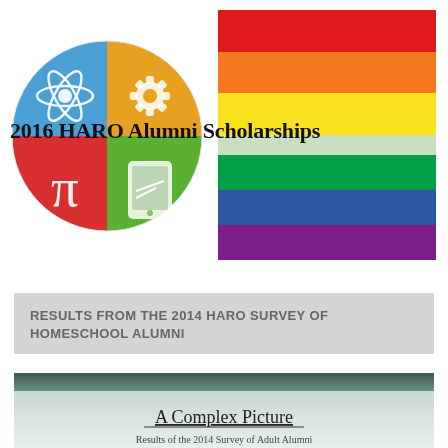[Figure (logo): HARO logo circle divided into four quadrants: top-left blue with atom icon, top-right yellow/orange with gear icon, bottom-left red with pi symbol, bottom-right green with tablet/device icon]
2016 HARO Alumni Scholarships
[Figure (illustration): Rainbow pride flag with six horizontal stripes: red, orange, yellow, green, blue, purple]
RESULTS FROM THE 2014 HARO SURVEY OF HOMESCHOOL ALUMNI
[Figure (photo): Cover image of a book or report with dark teal/green banner at top fading to light grey-green, titled 'A Complex Picture' with subtitle beginning 'Results of the 2014 Survey of Adult Alumni']